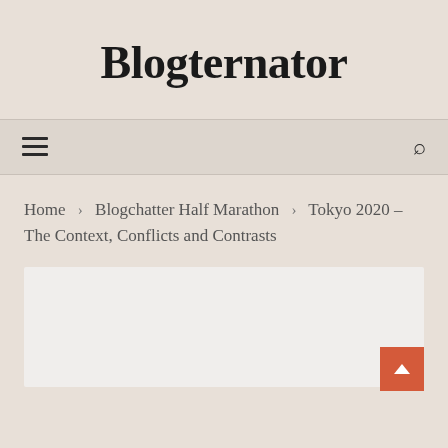Blogternator
≡  🔍
Home  >  Blogchatter Half Marathon  >  Tokyo 2020 – The Context, Conflicts and Contrasts
[Figure (other): Light colored content box area with a back-to-top button (orange/red) in the bottom right corner containing an upward arrow]